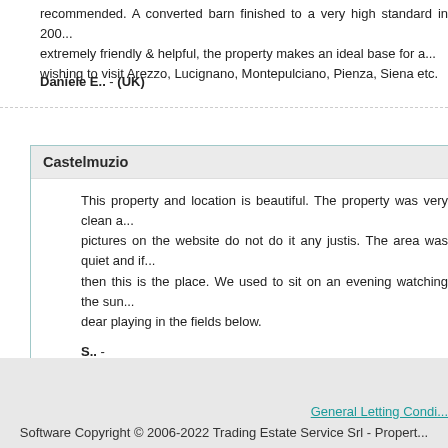recommended. A converted barn finished to a very high standard in 200... extremely friendly & helpful, the property makes an ideal base for ... wishing to visit Arezzo, Lucignano, Montepulciano, Pienza, Siena etc.
Daniele E.. - (UK)
Castelmuzio
This property and location is beautiful. The property was very clean a... pictures on the website do not do it any justis. The area was quiet and if... then this is the place. We used to sit on an evening watching the sun... dear playing in the fields below.
S.. -
General Letting Condi... Software Copyright © 2006-2022 Trading Estate Service Srl - Propert...